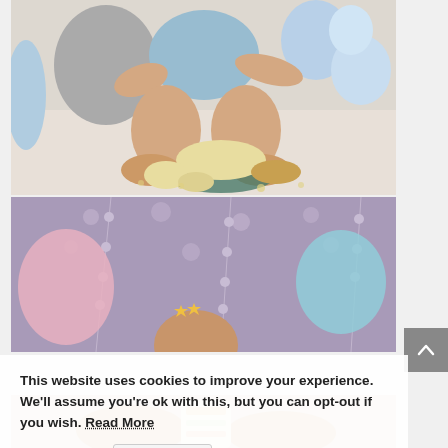[Figure (photo): Baby in light blue outfit sitting on floor surrounded by gray and blue balloons, with smashed cake and crumbs in front of them — a cake smash photo session.]
[Figure (photo): Close-up of a decorated birthday cake or backdrop with pink and blue balloons, dotted decorations hanging, and a child's head with a golden star crown visible at the bottom.]
[Figure (photo): Partial view of a baby's hands and a colorful item, likely from another cake smash or party photo.]
This website uses cookies to improve your experience. We'll assume you're ok with this, but you can opt-out if you wish. Read More
Accept